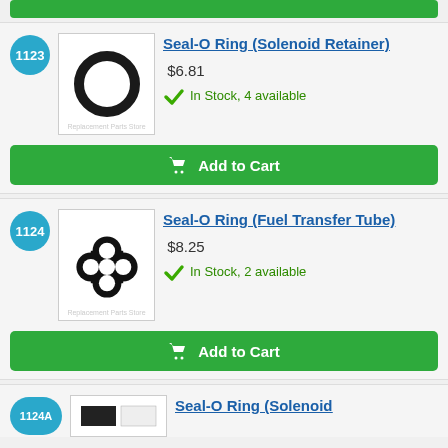[Figure (other): Green Add to Cart button (partially visible at top)]
1123
[Figure (photo): Photo of a black rubber O-ring (solenoid retainer seal)]
Seal-O Ring (Solenoid Retainer)
$6.81
In Stock, 4 available
Add to Cart
1124
[Figure (photo): Photo of a black rubber O-ring with four holes (fuel transfer tube seal)]
Seal-O Ring (Fuel Transfer Tube)
$8.25
In Stock, 2 available
Add to Cart
1124A
Seal-O Ring (Solenoid